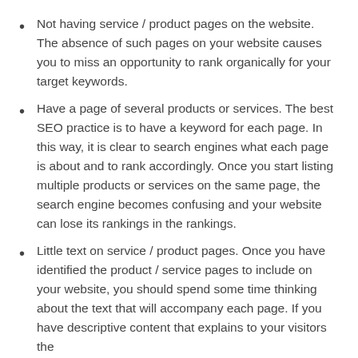Not having service / product pages on the website. The absence of such pages on your website causes you to miss an opportunity to rank organically for your target keywords.
Have a page of several products or services. The best SEO practice is to have a keyword for each page. In this way, it is clear to search engines what each page is about and to rank accordingly. Once you start listing multiple products or services on the same page, the search engine becomes confusing and your website can lose its rankings in the rankings.
Little text on service / product pages. Once you have identified the product / service pages to include on your website, you should spend some time thinking about the text that will accompany each page. If you have descriptive content that explains to your visitors the